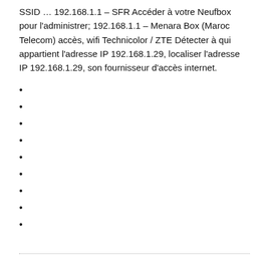SSID … 192.168.1.1 – SFR Accéder à votre Neufbox pour l'administrer; 192.168.1.1 – Menara Box (Maroc Telecom) accès, wifi Technicolor / ZTE Détecter à qui appartient l'adresse IP 192.168.1.29, localiser l'adresse IP 192.168.1.29, son fournisseur d'accès internet.